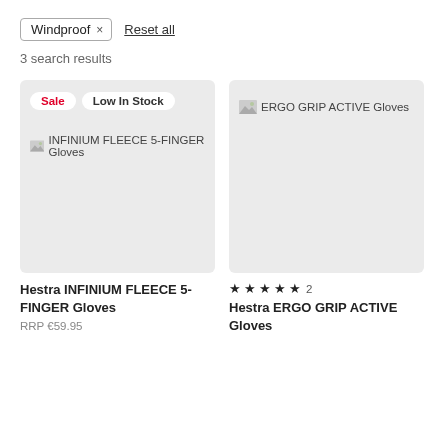Windproof × Reset all
3 search results
[Figure (screenshot): Product card for Hestra INFINIUM FLEECE 5-FINGER Gloves with Sale and Low In Stock badges, grey product image placeholder]
[Figure (screenshot): Product card for Hestra ERGO GRIP ACTIVE Gloves, grey product image placeholder]
Hestra INFINIUM FLEECE 5-FINGER Gloves
RRP €59.95
★★★★★ 2
Hestra ERGO GRIP ACTIVE Gloves